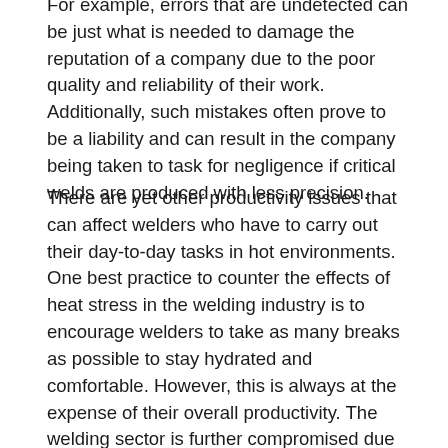For example, errors that are undetected can be just what is needed to damage the reputation of a company due to the poor quality and reliability of their work. Additionally, such mistakes often prove to be a liability and can result in the company being taken to task for negligence if critical welds are produced with less precision.
There are yet other productivity issues that can affect welders who have to carry out their day-to-day tasks in hot environments. One best practice to counter the effects of heat stress in the welding industry is to encourage welders to take as many breaks as possible to stay hydrated and comfortable. However, this is always at the expense of their overall productivity. The welding sector is further compromised due to the general age of its workforce. Currently, the average age of welders in the country is in the mid to upper 50's. These are individuals who are well known to be more